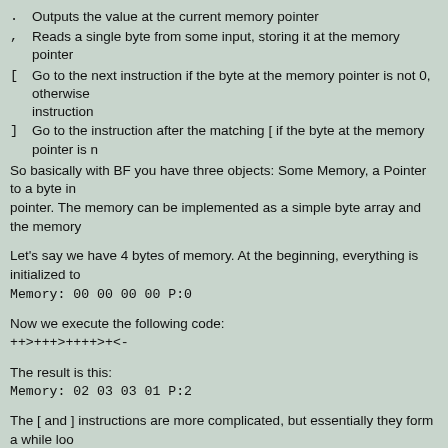.    Outputs the value at the current memory pointer
,    Reads a single byte from some input, storing it at the memory pointer
[    Go to the next instruction if the byte at the memory pointer is not 0, otherwise instruction
]    Go to the instruction after the matching [ if the byte at the memory pointer is n
So basically with BF you have three objects: Some Memory, a Pointer to a byte in pointer. The memory can be implemented as a simple byte array and the memory
Let's say we have 4 bytes of memory. At the beginning, everything is initialized to
Memory: 00 00 00 00 P:0
Now we execute the following code:
++>+++>++++>+<-
The result is this:
Memory: 02 03 03 01 P:2
The [ and ] instructions are more complicated, but essentially they form a while loo 0) { // instructions between the brackets }. One example is to inc having many + signs. Let's say we want to increase memory[1] to 25. For that, we
++++[>+++++<-]
After running this, the memory will look like this: